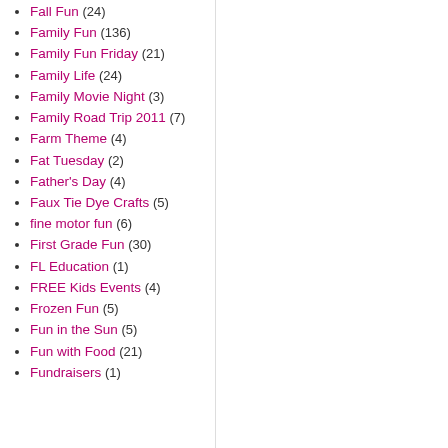Fall Fun (24)
Family Fun (136)
Family Fun Friday (21)
Family Life (24)
Family Movie Night (3)
Family Road Trip 2011 (7)
Farm Theme (4)
Fat Tuesday (2)
Father's Day (4)
Faux Tie Dye Crafts (5)
fine motor fun (6)
First Grade Fun (30)
FL Education (1)
FREE Kids Events (4)
Frozen Fun (5)
Fun in the Sun (5)
Fun with Food (21)
Fundraisers (1)
What Back to School crafts have you e... Bern
Posted by Mom to 2 Posh Lil Divas at 7:00 AM Labels: Back to School Theme, Kid Crafts, Mil...
1,719 comments:
LOVE MELISSA:) August 27, 201... So creative!!